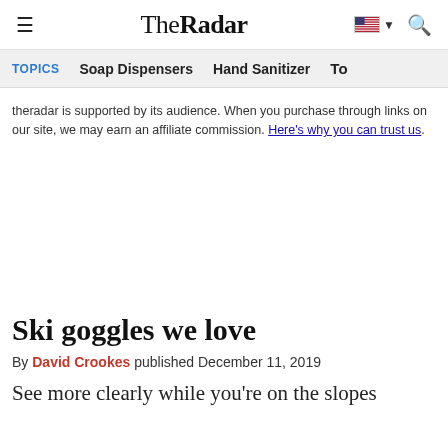TheRadar — navigation header with hamburger menu, logo, flag/language selector, and search icon
TOPICS | Soap Dispensers | Hand Sanitizer | To...
theradar is supported by its audience. When you purchase through links on our site, we may earn an affiliate commission. Here's why you can trust us.
Ski goggles we love
By David Crookes published December 11, 2019
See more clearly while you're on the slopes